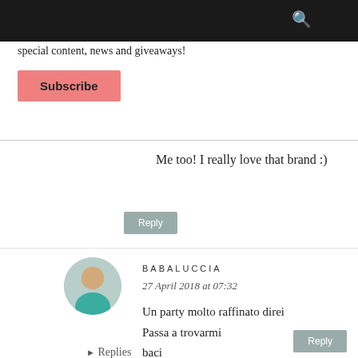special content, news and giveaways!
Subscribe
Me too! I really love that brand :)
Reply
BABALUCCIA
27 April 2018 at 07:32
Un party molto raffinato direi
Passa a trovarmi
baci
Reply
▸ Replies